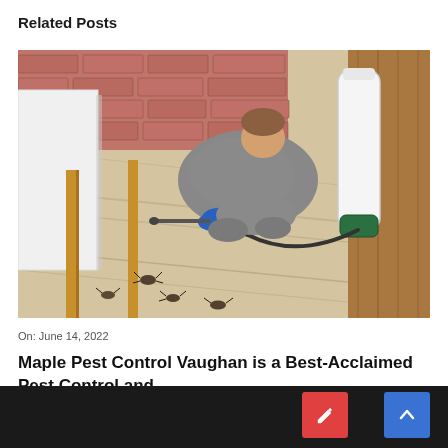Related Posts
[Figure (photo): A pest control worker in a grey uniform and blue gloves kneeling on a wooden floor, using a spray wand under furniture. A white pressure sprayer is visible on the right. Several cockroaches are visible on the floor. Brick wall and wooden chair in background.]
On: June 14, 2022
Maple Pest Control Vaughan is a Best-Acclaimed Pest Control and ...